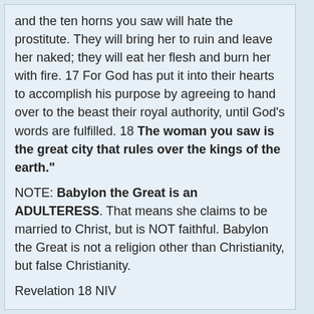and the ten horns you saw will hate the prostitute. They will bring her to ruin and leave her naked; they will eat her flesh and burn her with fire. 17 For God has put it into their hearts to accomplish his purpose by agreeing to hand over to the beast their royal authority, until God's words are fulfilled. 18 The woman you saw is the great city that rules over the kings of the earth."
NOTE: Babylon the Great is an ADULTERESS. That means she claims to be married to Christ, but is NOT faithful. Babylon the Great is not a religion other than Christianity, but false Christianity.
Revelation 18 NIV
“Lament Over Fallen Babylon
18 After this I saw another angel coming down from heaven. He had great authority, and the earth was illuminated by his splendor. 2 With a mighty voice he shouted: